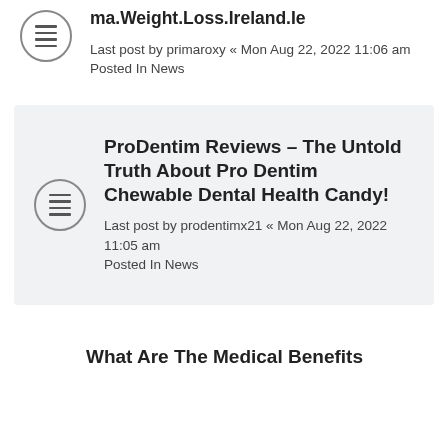ma.Weight.Loss.Ireland.Ie
Last post by primaroxy « Mon Aug 22, 2022 11:06 am
Posted In News
ProDentim Reviews – The Untold Truth About Pro Dentim Chewable Dental Health Candy!
Last post by prodentimx21 « Mon Aug 22, 2022 11:05 am
Posted In News
What Are The Medical Benefits